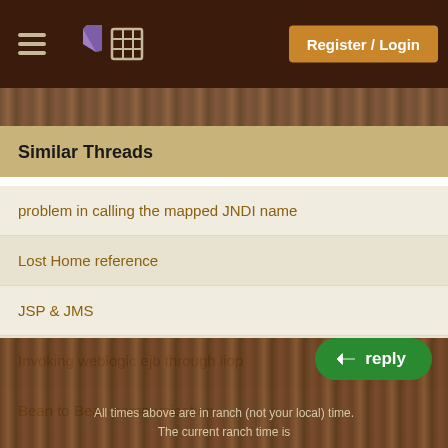Register / Login
Similar Threads
problem in calling the mapped JNDI name
Lost Home reference
JSP & JMS
Invoking weblogic ejb through iiop
Bean to Bean communication
More...
All times above are in ranch (not your local) time.
The current ranch time is